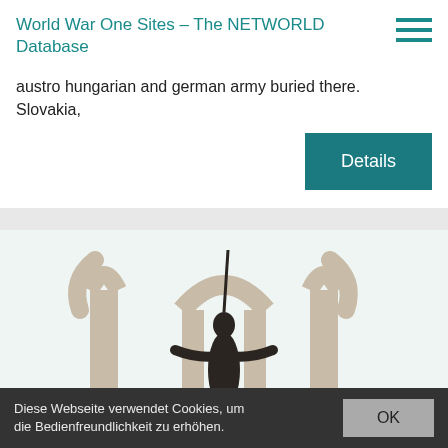World War One Sites – The NETWORLD Database
austro hungarian and german army buried there. Slovakia,
Details
[Figure (photo): A dark statue of a figure standing between stone arch monuments against a pale green-white background, photographed from below.]
Diese Webseite verwendet Cookies, um die Bedienfreundlichkeit zu erhöhen.
OK